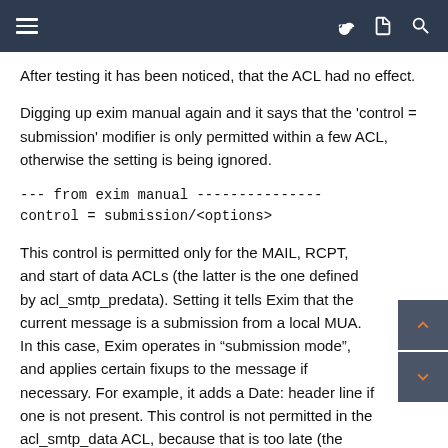≡  🔑 📋 🔍
After testing it has been noticed, that the ACL had no effect.
Digging up exim manual again and it says that the 'control = submission' modifier is only permitted within a few ACL, otherwise the setting is being ignored.
--- from exim manual ---------------
control = submission/<options>
This control is permitted only for the MAIL, RCPT, and start of data ACLs (the latter is the one defined by acl_smtp_predata). Setting it tells Exim that the current message is a submission from a local MUA. In this case, Exim operates in "submission mode", and applies certain fixups to the message if necessary. For example, it adds a Date: header line if one is not present. This control is not permitted in the acl_smtp_data ACL, because that is too late (the message has already been created).
------------------------------------
So I think, this should be removed from custom_begin_connect